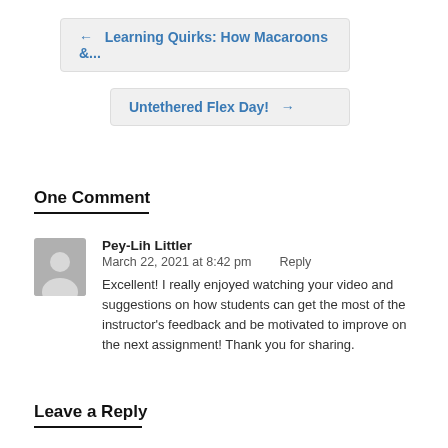← Learning Quirks: How Macaroons &...
Untethered Flex Day! →
One Comment
Pey-Lih Littler
March 22, 2021 at 8:42 pm    Reply
Excellent! I really enjoyed watching your video and suggestions on how students can get the most of the instructor's feedback and be motivated to improve on the next assignment! Thank you for sharing.
Leave a Reply